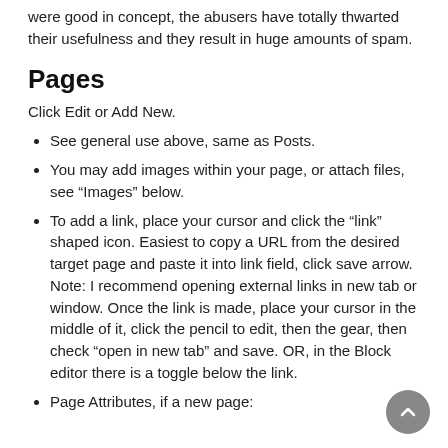were good in concept, the abusers have totally thwarted their usefulness and they result in huge amounts of spam.
Pages
Click Edit or Add New.
See general use above, same as Posts.
You may add images within your page, or attach files, see “Images” below.
To add a link, place your cursor and click the “link” shaped icon. Easiest to copy a URL from the desired target page and paste it into link field, click save arrow. Note: I recommend opening external links in new tab or window. Once the link is made, place your cursor in the middle of it, click the pencil to edit, then the gear, then check “open in new tab” and save. OR, in the Block editor there is a toggle below the link.
Page Attributes, if a new page: